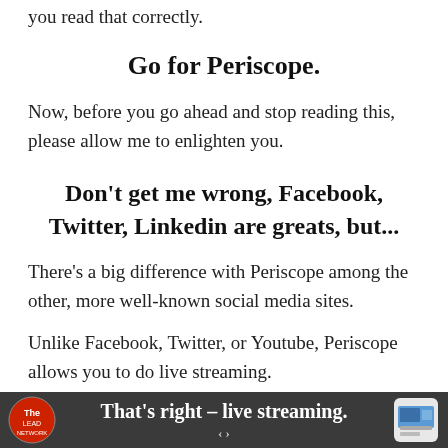you read that correctly.
Go for Periscope.
Now, before you go ahead and stop reading this, please allow me to enlighten you.
Don't get me wrong, Facebook, Twitter, Linkedin are greats, but...
There's a big difference with Periscope among the other, more well-known social media sites.
Unlike Facebook, Twitter, or Youtube, Periscope allows you to do live streaming.
That's right – live streaming.